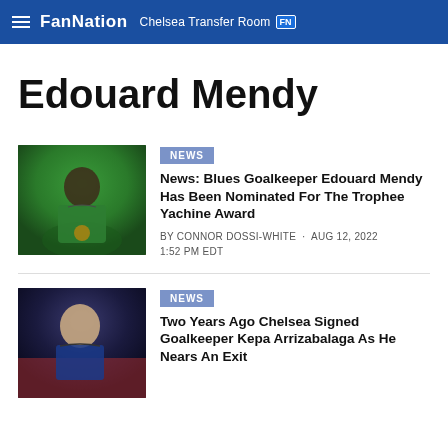FanNation · Chelsea Transfer Room
Edouard Mendy
[Figure (photo): Goalkeeper Edouard Mendy in green Chelsea kit]
NEWS
News: Blues Goalkeeper Edouard Mendy Has Been Nominated For The Trophee Yachine Award
BY CONNOR DOSSI-WHITE · AUG 12, 2022 1:52 PM EDT
[Figure (photo): Chelsea player close-up portrait]
NEWS
Two Years Ago Chelsea Signed Goalkeeper Kepa Arrizabalaga As He Nears An Exit